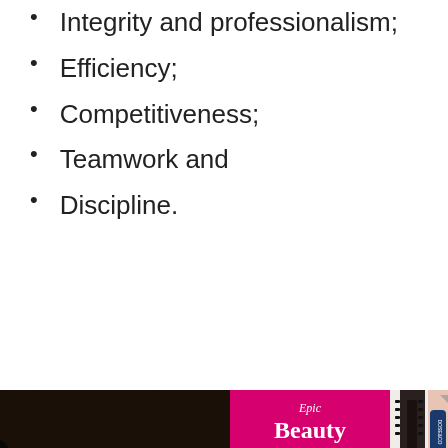Integrity and professionalism;
Efficiency;
Competitiveness;
Teamwork and
Discipline.
[Figure (photo): Advertisement banner for a beauty products sale event showing a woman with curly hair, a hair brush, beauty products, and text 'Epic Beauty Event Up to 40% off +HOT DEALS' with various brand logos including elf and Dose & Co.]